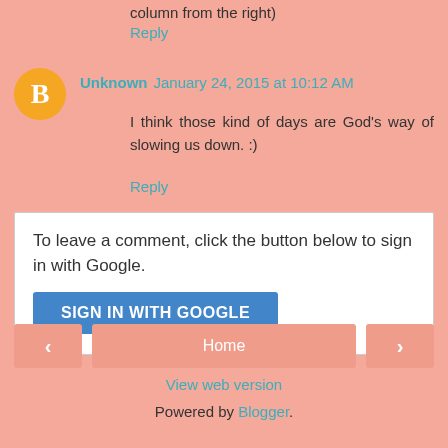column from the right)
Reply
Unknown  January 24, 2015 at 10:12 AM
I think those kind of days are God's way of slowing us down. :)
Reply
To leave a comment, click the button below to sign in with Google.
SIGN IN WITH GOOGLE
Home
View web version
Powered by Blogger.